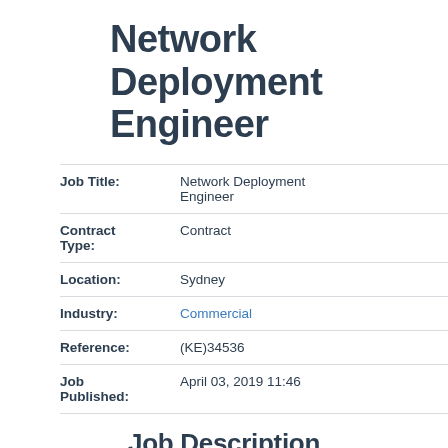Network Deployment Engineer
| Field | Value |
| --- | --- |
| Job Title: | Network Deployment Engineer |
| Contract Type: | Contract |
| Location: | Sydney |
| Industry: | Commercial |
| Reference: | (KE)34536 |
| Job Published: | April 03, 2019 11:46 |
Job Description